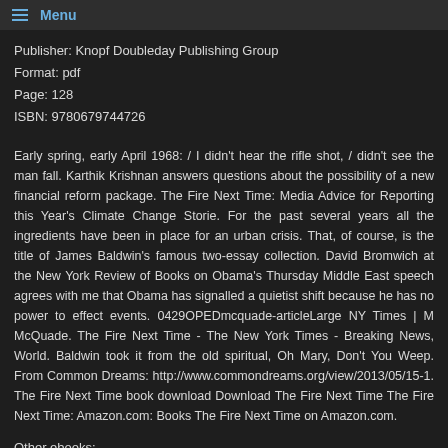Menu
Publisher: Knopf Doubleday Publishing Group
Format: pdf
Page: 128
ISBN: 9780679744726
Early spring, early April 1968: / I didn't hear the rifle shot, / didn't see the man fall. Karthik Krishnan answers questions about the possibility of a new financial reform package. The Fire Next Time: Media Advice for Reporting this Year's Climate Change Storie. For the past several years all the ingredients have been in place for an urban crisis. That, of course, is the title of James Baldwin's famous two-essay collection. David Bromwich at the New York Review of Books on Obama's Thursday Middle East speech agrees with me that Obama has signalled a quietist shift because he has no power to effect events. 0429OPEDmcquade-articleLarge NY Times | M McQuade. The Fire Next Time - The New York Times - Breaking News, World. Baldwin took it from the old spiritual, Oh Mary, Don't You Weep. From Common Dreams: http://www.commondreams.org/view/2013/05/15-1. The Fire Next Time book download Download The Fire Next Time The Fire Next Time: Amazon.com: Books The Fire Next Time on Amazon.com.
Other ebooks: